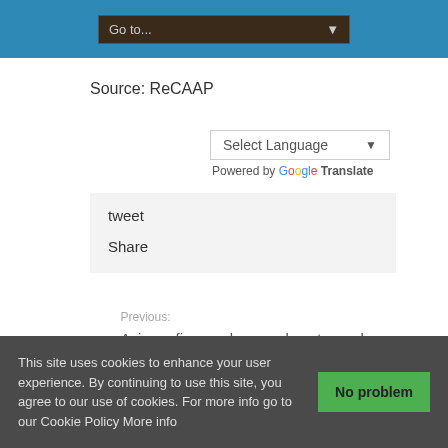Go to...
Source: ReCAAP
Select Language
Powered by Google Translate
tweet
Share
Previous:
Asian refiners advance plans to produce IMO-compliant fuel despite hurdles
This site uses cookies to enhance your user experience. By continuing to use this site, you agree to our use of cookies. For more info go to our Cookie Policy More info